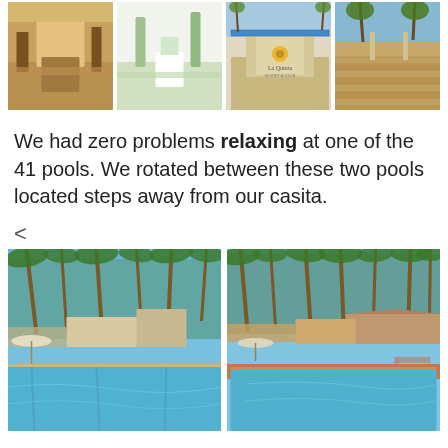[Figure (photo): Row of four resort/hotel photos showing garden path, walkway with bushes, La Quinta Resort sign with decorative tile, and brick pathway]
We had zero problems relaxing at one of the 41 pools. We rotated between these two pools located steps away from our casita.
<
[Figure (photo): Two side-by-side photos of resort pools surrounded by tall palm trees and lush greenery under blue sky]